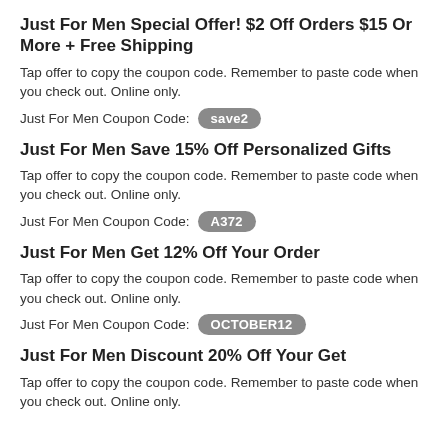Just For Men Special Offer! $2 Off Orders $15 Or More + Free Shipping
Tap offer to copy the coupon code. Remember to paste code when you check out. Online only.
Just For Men Coupon Code: save2
Just For Men Save 15% Off Personalized Gifts
Tap offer to copy the coupon code. Remember to paste code when you check out. Online only.
Just For Men Coupon Code: A372
Just For Men Get 12% Off Your Order
Tap offer to copy the coupon code. Remember to paste code when you check out. Online only.
Just For Men Coupon Code: OCTOBER12
Just For Men Discount 20% Off Your Get
Tap offer to copy the coupon code. Remember to paste code when you check out. Online only.